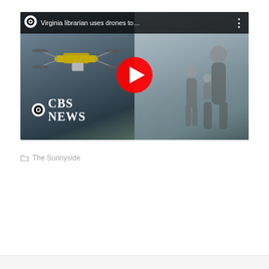[Figure (screenshot): YouTube video thumbnail embed showing a CBS News video titled 'Virginia librarian uses drones to...' with a red YouTube play button in the center. Left half shows a drone in flight over a landscape, right half shows a family (woman with children) on a porch. CBS News logo visible in bottom-left corner of thumbnail.]
The Sunnyside
Older posts